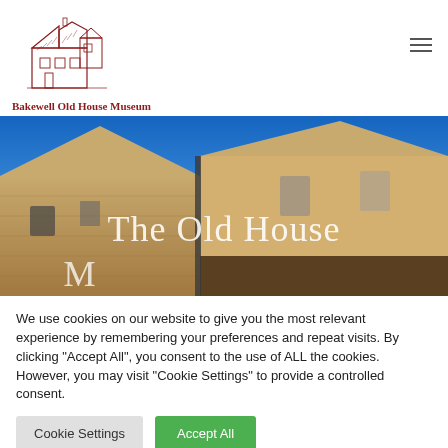[Figure (logo): Bakewell Old House Museum hand-drawn building sketch logo in red/brown]
Bakewell Old House Museum
[Figure (photo): Photograph of a historic stone building (The Old House Museum) against a blue sky, with overlay text 'The Old House M...']
We use cookies on our website to give you the most relevant experience by remembering your preferences and repeat visits. By clicking "Accept All", you consent to the use of ALL the cookies. However, you may visit "Cookie Settings" to provide a controlled consent.
Cookie Settings | Accept All